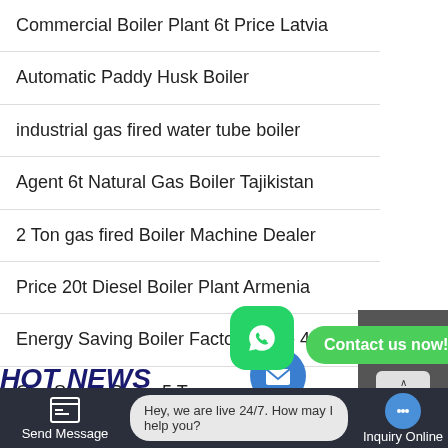Commercial Boiler Plant 6t Price Latvia
Automatic Paddy Husk Boiler
industrial gas fired water tube boiler
Agent 6t Natural Gas Boiler Tajikistan
2 Ton gas fired Boiler Machine Dealer
Price 20t Diesel Boiler Plant Armenia
Energy Saving Boiler Factory Price 4t
Gas Steam Boiler 5 Ton
HOT NEWS
Chat
TOP
Email
Contact us now!
Send Message
Hey, we are live 24/7. How may I help you?
Inquiry Online